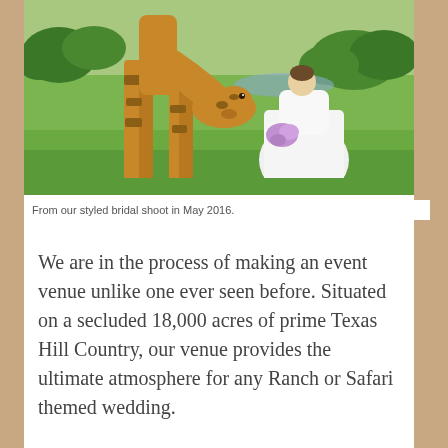[Figure (photo): A bride in a white wedding gown holding a bouquet stands next to a giraffe bending down toward her, set on lush green grass with trees in the background.]
From our styled bridal shoot in May 2016.
We are in the process of making an event venue unlike one ever seen before. Situated on a secluded 18,000 acres of prime Texas Hill Country, our venue provides the ultimate atmosphere for any Ranch or Safari themed wedding.